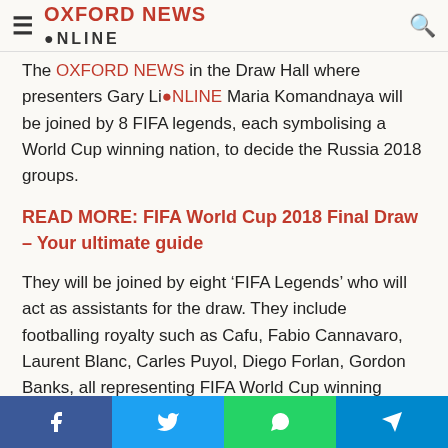Oxford News Online
The ... in the Draw Hall where presenters Gary Li... Maria Komandnaya will be joined by 8 FIFA legends, each symbolising a World Cup winning nation, to decide the Russia 2018 groups.
READ MORE: FIFA World Cup 2018 Final Draw – Your ultimate guide
They will be joined by eight ‘FIFA Legends’ who will act as assistants for the draw. They include footballing royalty such as Cafu, Fabio Cannavaro, Laurent Blanc, Carles Puyol, Diego Forlan, Gordon Banks, all representing FIFA World Cup winning nations, and former Soviet great Nikita Simonyan who will represent the host nation Russia.
All eyes will be on the heart of Russia on December 1. Fate
Facebook  Twitter  WhatsApp  Telegram